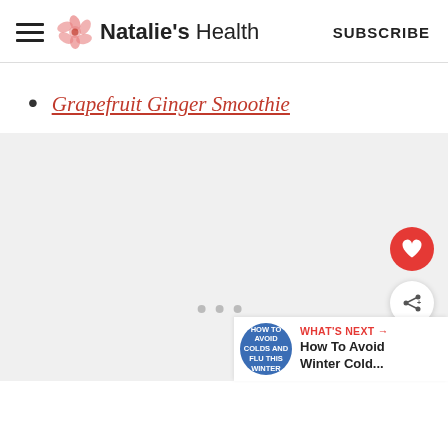Natalie's Health — SUBSCRIBE
Grapefruit Ginger Smoothie
[Figure (screenshot): Gray placeholder content area with navigation dots, floating heart (favorite) button in red, floating share button in white, and a 'What's Next' bar in the bottom right showing a blue circular badge with 'HOW TO AVOID COLDS AND FLU THIS WINTER' text and a link 'How To Avoid Winter Cold...']